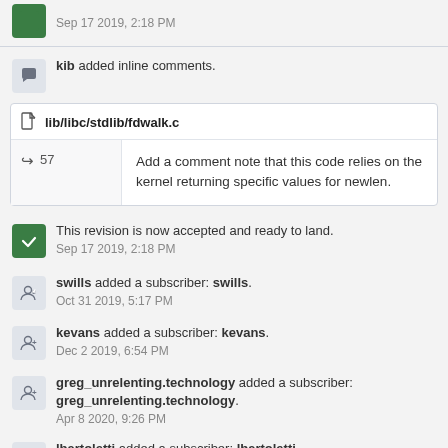Sep 17 2019, 2:18 PM
kib added inline comments.
lib/libc/stdlib/fdwalk.c
57  Add a comment note that this code relies on the kernel returning specific values for newlen.
This revision is now accepted and ready to land.
Sep 17 2019, 2:18 PM
swills added a subscriber: swills.
Oct 31 2019, 5:17 PM
kevans added a subscriber: kevans.
Dec 2 2019, 6:54 PM
greg_unrelenting.technology added a subscriber: greg_unrelenting.technology.
Apr 8 2020, 9:26 PM
lbartoletti added a subscriber: lbartoletti.
Sep 14 2020, 6:58 AM